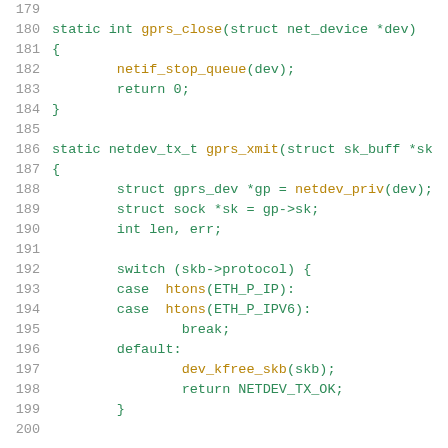[Figure (screenshot): Source code listing in C showing functions gprs_close and gprs_xmit, with line numbers 179-200. Uses monospace font with syntax highlighting: keywords/identifiers in green/olive, numbers in green, on white background.]